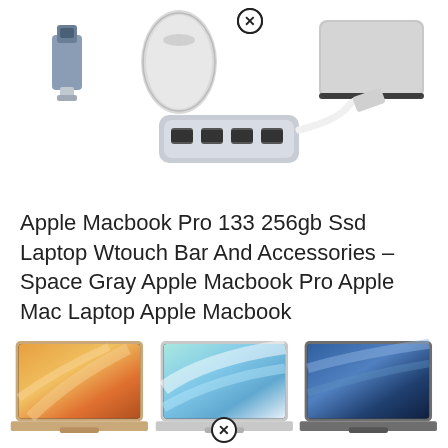[Figure (photo): Apple MacBook accessories including USB flash drive, Magic Mouse, USB hub with white cable, and Magic Trackpad on white background, with a close/remove button icon]
Apple Macbook Pro 133 256gb Ssd Laptop Wtouch Bar And Accessories – Space Gray Apple Macbook Pro Apple Mac Laptop Apple Macbook
[Figure (photo): Three Apple MacBook Air laptops shown open side by side: gold with orange/yellow wallpaper, silver with blue/teal wallpaper, and space gray with blue/purple wallpaper]
[Figure (other): Close/remove button icon (circled X)]